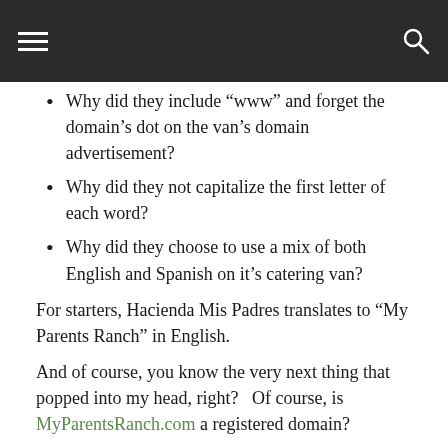Why did they include “www” and forget the domain’s dot on the van’s domain advertisement?
Why did they not capitalize the first letter of each word?
Why did they choose to use a mix of both English and Spanish on it’s catering van?
For starters, Hacienda Mis Padres translates to “My Parents Ranch” in English.
And of course, you know the very next thing that popped into my head, right?   Of course, is MyParentsRanch.com a registered domain?
And the answer is no.  It’s available or at least was available at the moment I wrote this post.